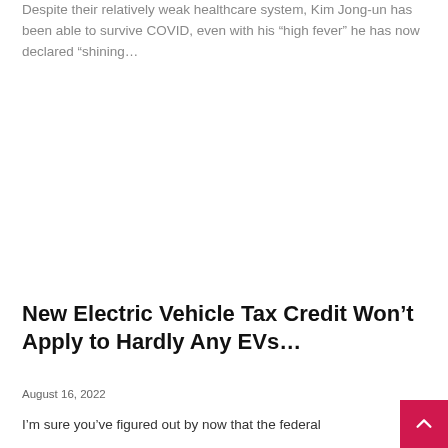Despite their relatively weak healthcare system, Kim Jong-un has been able to survive COVID, even with his “high fever” he has now declared “shining…
New Electric Vehicle Tax Credit Won’t Apply to Hardly Any EVs…
August 16, 2022
I’m sure you’ve figured out by now that the federal